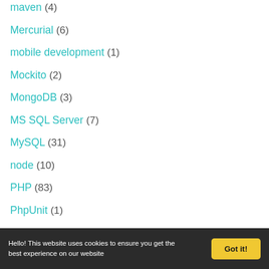maven (4)
Mercurial (6)
mobile development (1)
Mockito (2)
MongoDB (3)
MS SQL Server (7)
MySQL (31)
node (10)
PHP (83)
PhpUnit (1)
postgres (4)
Hello! This website uses cookies to ensure you get the best experience on our website   Got it!